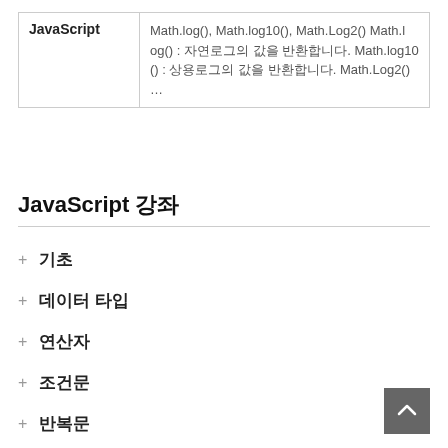| JavaScript | 설명 |
| --- | --- |
| JavaScript | Math.log(), Math.log10(), Math.Log2() Math.log() : 자연로그의 값을 반환합니다. Math.log10() : 상용로그의 값을 반환합니다. Math.Log2() … |
JavaScript 강좌
+ 기초
+ 데이터 타입
+ 연산자
+ 조건문
+ 반복문
+ 함수
함수
함수 선언하고 호출하기
전역변수와 지역변수